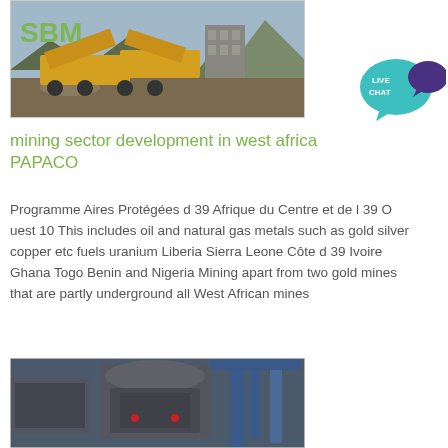[Figure (photo): Industrial mining equipment (yellow conveyor/crusher machinery) on a worksite with a building and mountains in background. SBM logo in green top-left corner.]
[Figure (infographic): Live Chat button/icon — teal speech bubble with 'LIVE CHAT' text and a dark purple speech bubble overlapping.]
mining sector development in west africa PAPACO
Programme Aires Protégées d 39 Afrique du Centre et de l 39 O uest 10 This includes oil and natural gas metals such as gold silver copper etc fuels uranium Liberia Sierra Leone Côte d 39 Ivoire Ghana Togo Benin and Nigeria Mining apart from two gold mines that are partly underground all West African mines
[Figure (photo): Industrial machinery (large crusher/grinding equipment) in a factory or industrial facility, with blue cranes visible in background.]